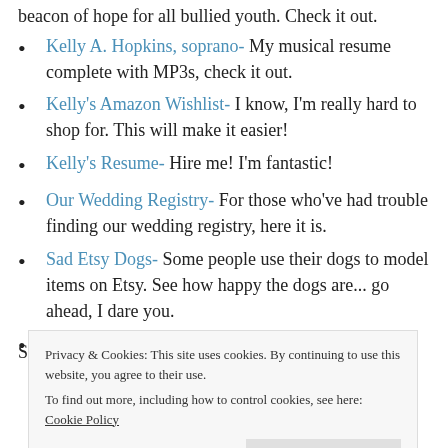Kelly A. Hopkins, soprano- My musical resume complete with MP3s, check it out.
Kelly's Amazon Wishlist- I know, I'm really hard to shop for. This will make it easier!
Kelly's Resume- Hire me! I'm fantastic!
Our Wedding Registry- For those who've had trouble finding our wedding registry, here it is.
Sad Etsy Dogs- Some people use their dogs to model items on Etsy. See how happy the dogs are... go ahead, I dare you.
Schneier on Security- Where the term "Security
Privacy & Cookies: This site uses cookies. By continuing to use this website, you agree to their use.
To find out more, including how to control cookies, see here: Cookie Policy
Close and accept
Stones Jewelry, in other words, my Etsy Store, come